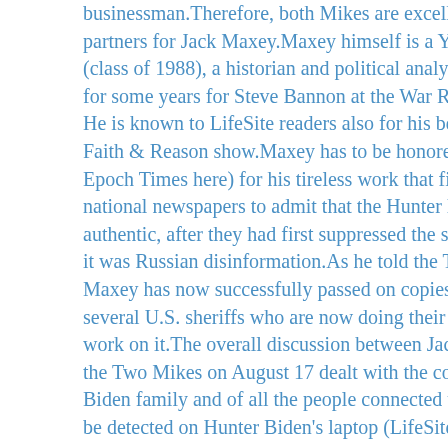businessman.Therefore, both Mikes are excellent interview partners for Jack Maxey.Maxey himself is a Yale graduate (class of 1988), a historian and political analyst who worked for some years for Steve Bannon at the War Room Pandemic. He is known to LifeSite readers also for his being part of the Faith & Reason show.Maxey has to be honored (as does the Epoch Times here) for his tireless work that finally led U.S. national newspapers to admit that the Hunter Biden laptop is authentic, after they had first suppressed the story by claiming it was Russian disinformation.As he told the Two Mikes, Maxey has now successfully passed on copies of the laptop to several U.S. sheriffs who are now doing their own forensic work on it.The overall discussion between Jack Maxey and the Two Mikes on August 17 dealt with the corruption of the Biden family and of all the people connected to them as it can be detected on Hunter Biden's laptop (LifeSite